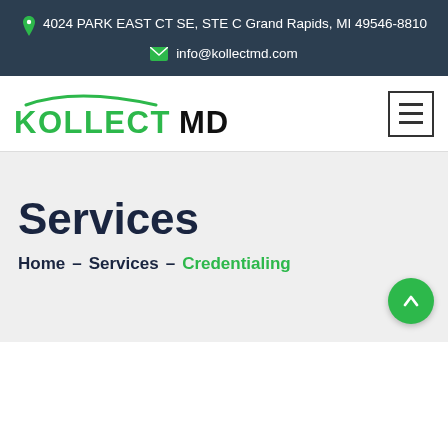4024 PARK EAST CT SE, STE C Grand Rapids, MI 49546-8810
info@kollectmd.com
[Figure (logo): Kollect MD logo with green arc above KOLLECT in green bold text and MD in black bold text, with hamburger menu icon on the right]
Services
Home – Services – Credentialing